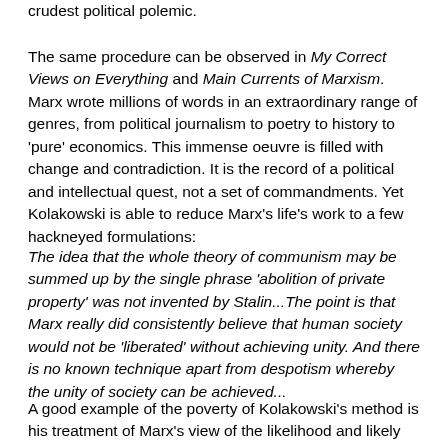crudest political polemic.
The same procedure can be observed in My Correct Views on Everything and Main Currents of Marxism. Marx wrote millions of words in an extraordinary range of genres, from political journalism to poetry to history to 'pure' economics. This immense oeuvre is filled with change and contradiction. It is the record of a political and intellectual quest, not a set of commandments. Yet Kolakowski is able to reduce Marx's life's work to a few hackneyed formulations:
The idea that the whole theory of communism may be summed up by the single phrase 'abolition of private property' was not invented by Stalin...The point is that Marx really did consistently believe that human society would not be 'liberated' without achieving unity. And there is no known technique apart from despotism whereby the unity of society can be achieved...
A good example of the poverty of Kolakowski's method is his treatment of Marx's view of the likelihood and likely location of a future socialist revolution. Referencing a handful of